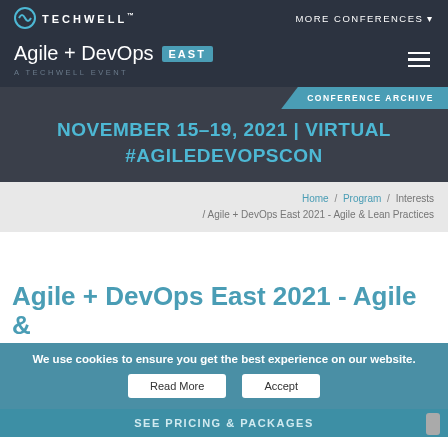TECHWELL™  |  MORE CONFERENCES
Agile + DevOps EAST — A TECHWELL EVENT
CONFERENCE ARCHIVE
NOVEMBER 15–19, 2021 | VIRTUAL #AGILEDEVOPSCON
Home / Program / Interests / Agile + DevOps East 2021 - Agile & Lean Practices
Agile + DevOps East 2021 - Agile &
We use cookies to ensure you get the best experience on our website.
Read More  Accept
SEE PRICING & PACKAGES